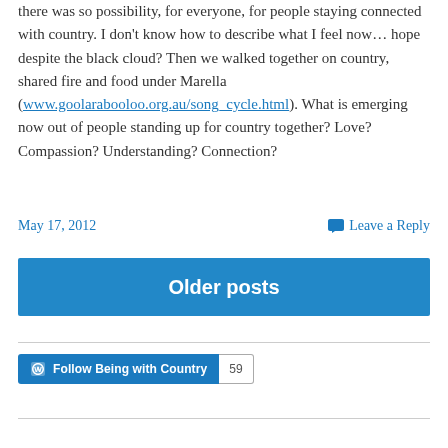there was so possibility, for everyone, for people staying connected with country. I don't know how to describe what I feel now… hope despite the black cloud? Then we walked together on country, shared fire and food under Marella (www.goolarabooloo.org.au/song_cycle.html). What is emerging now out of people standing up for country together? Love? Compassion? Understanding? Connection?
May 17, 2012
Leave a Reply
Older posts
Follow Being with Country  59